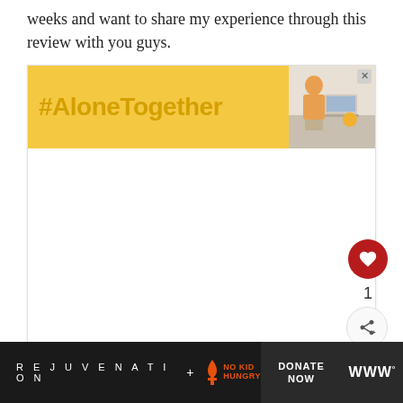weeks and want to share my experience through this review with you guys.
[Figure (screenshot): #AloneTogether advertisement banner with yellow background and woman working at laptop, with heart/share social buttons on the right side]
[Figure (infographic): Bottom bar: REJUVENATION + NO KID HUNGRY brand partnership with DONATE NOW button and WW logo]